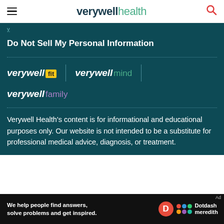verywell health
Do Not Sell My Personal Information
[Figure (logo): Verywell Fit logo with yellow badge, Verywell Mind logo, vertical dividers]
[Figure (logo): Verywell Family logo]
Verywell Health's content is for informational and educational purposes only. Our website is not intended to be a substitute for professional medical advice, diagnosis, or treatment.
[Figure (infographic): Dotdash Meredith ad banner: We help people find answers, solve problems and get inspired.]